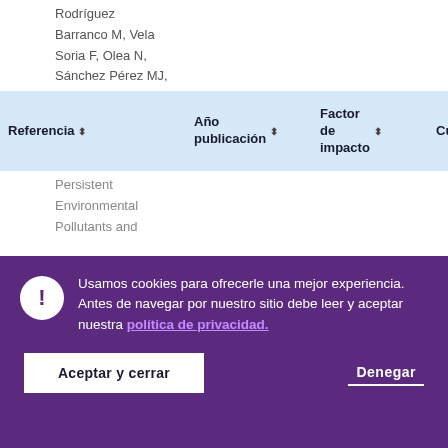Rodríguez
Barranco M, Vela
Soria F, Olea N,
Sánchez Pérez MJ,
| Referencia | Año publicación | Factor de impacto | Cuartil |
| --- | --- | --- | --- |
Persistent
Environmental
Pollutants and
Usamos cookies para ofrecerle una mejor experiencia. Antes de navegar por nuestro sitio debe leer y aceptar nuestra política de privacidad.
Aceptar y cerrar
Denegar